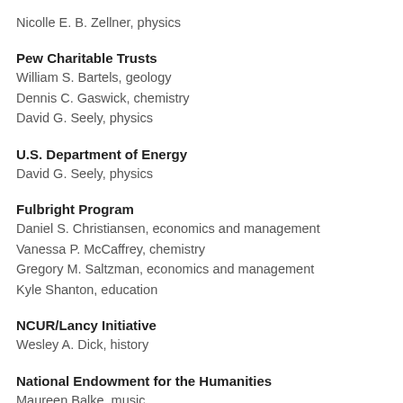Nicolle E. B. Zellner, physics
Pew Charitable Trusts
William S. Bartels, geology
Dennis C. Gaswick, chemistry
David G. Seely, physics
U.S. Department of Energy
David G. Seely, physics
Fulbright Program
Daniel S. Christiansen, economics and management
Vanessa P. McCaffrey, chemistry
Gregory M. Saltzman, economics and management
Kyle Shanton, education
NCUR/Lancy Initiative
Wesley A. Dick, history
National Endowment for the Humanities
Maureen Balke, music
Deborah E. Kanter, history
Judith A. Lockyer, English